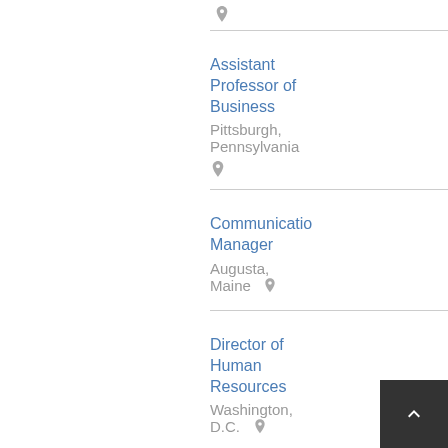Assistant Professor of Business
Pittsburgh, Pennsylvania
Communications Manager
Augusta, Maine
Director of Human Resources
Washington, D.C.
Natural